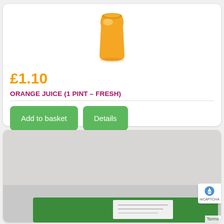[Figure (photo): Orange juice bottle or container — top portion visible, golden orange color]
£1.10
ORANGE JUICE (1 PINT – FRESH)
Add to basket
Details
[Figure (photo): Second product card showing a green packaged item on a grey surface — cropped, bottom portion only visible]